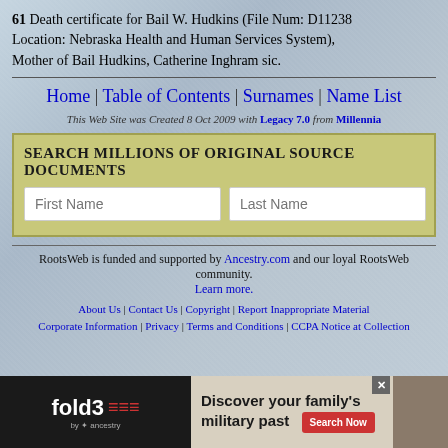61 Death certificate for Bail W. Hudkins (File Num: D11238
Location: Nebraska Health and Human Services System),
Mother of Bail Hudkins, Catherine Inghram sic.
Home | Table of Contents | Surnames | Name List
This Web Site was Created 8 Oct 2009 with Legacy 7.0 from Millennia
SEARCH MILLIONS OF ORIGINAL SOURCE DOCUMENTS
RootsWeb is funded and supported by Ancestry.com and our loyal RootsWeb community. Learn more.
About Us | Contact Us | Copyright | Report Inappropriate Material
Corporate Information | Privacy | Terms and Conditions | CCPA Notice at Collection
[Figure (infographic): Fold3 by Ancestry advertisement banner: 'Discover your family's military past' with Search Now button and soldier image]